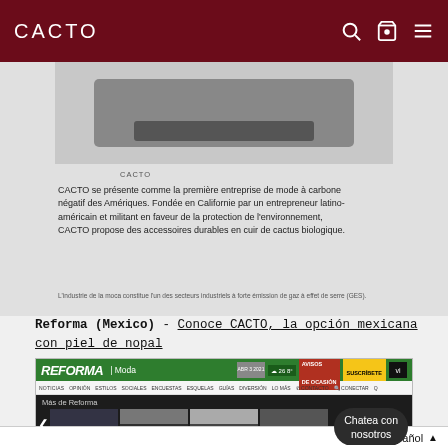CACTO
[Figure (screenshot): CACTO brand screenshot showing product image and article text about CACTO being the first carbon-negative fashion company in the Americas]
CACTO se présente comme la première entreprise de mode à carbone négatif des Amériques. Fondée en Californie par un entrepreneur latino-américain et militant en faveur de la protection de l'environnement, CACTO propose des accessoires durables en cuir de cactus biologique.
L'industrie de la moca constitue l'un des secteurs industriels à forte émission de gaz à effet de serre (GES).
Reforma (Mexico) - Conoce CACTO, la opción mexicana con piel de nopal
[Figure (screenshot): Screenshot of Reforma newspaper website showing Moda section with navigation and thumbnail articles. Chat bubble overlay says 'Chatea con nosotros']